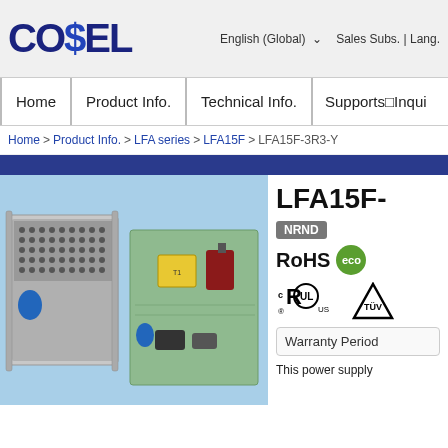COSEL | English (Global) | Sales Subs. | Lang.
Home | Product Info. | Technical Info. | Supports/Inqui
Home > Product Info. > LFA series > LFA15F > LFA15F-3R3-Y
[Figure (photo): Photo of COSEL LFA15F-3R3-Y open-frame power supply unit, showing two views: one with metal mesh cover and one bare PCB with components including a yellow transformer, blue capacitors, and inductors on a light blue background.]
LFA15F-
NRND
RoHS eco
[Figure (logo): UL certification mark (cULus) and TÜV Rheinland certification logo]
Warranty Period
This power supply